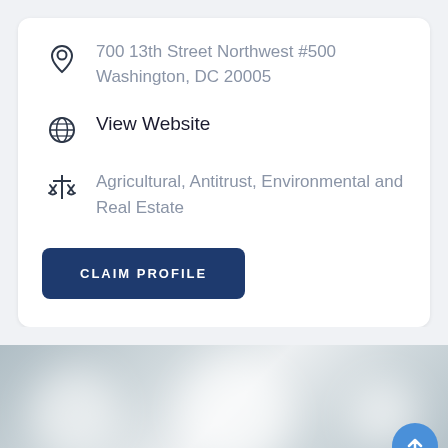700 13th Street Northwest #500
Washington, DC 20005
View Website
Agricultural, Antitrust, Environmental and Real Estate
CLAIM PROFILE
[Figure (photo): Blurred grey background section with a scroll-to-top blue circular button]